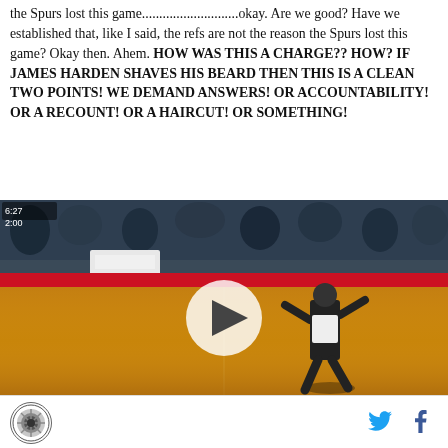the Spurs lost this game............................okay. Are we good? Have we established that, like I said, the refs are not the reason the Spurs lost this game? Okay then. Ahem. HOW WAS THIS A CHARGE?? HOW? IF JAMES HARDEN SHAVES HIS BEARD THEN THIS IS A CLEAN TWO POINTS! WE DEMAND ANSWERS! OR ACCOUNTABILITY! OR A RECOUNT! OR A HAIRCUT! OR SOMETHING!
[Figure (photo): Video screenshot of a basketball game showing a player on the court with a play button overlay. Crowd visible in the background, NBA game footage.]
Spurs logo icon, Twitter share button, Facebook share button